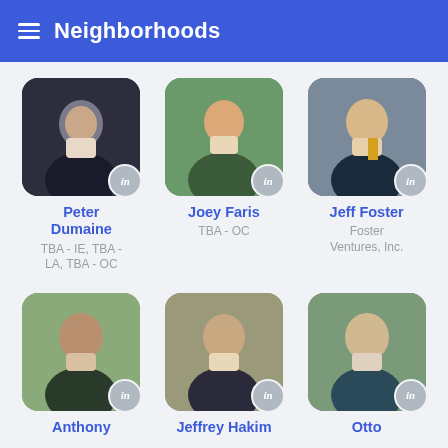Neighborhoods
Peter Dumaine
TBA - IE, TBA - LA, TBA - OC
Joey Faris
TBA - OC
Jeff Foster
Foster Ventures, Inc.
Anthony
Jeffrey Hakim
Otto